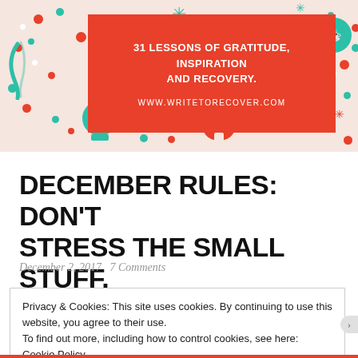[Figure (illustration): Website header banner for writetorecover.com with festive confetti dots in red and teal on a light peach background, with a red center box containing the text '31 LESSONS OF GRATITUDE, INSPIRATION AND RECOVERY.' and 'WWW.WRITETORECOVER.COM']
DECEMBER RULES: DON'T STRESS THE SMALL STUFF.
December 2, 2017   7 Comments
Privacy & Cookies: This site uses cookies. By continuing to use this website, you agree to their use.
To find out more, including how to control cookies, see here: Cookie Policy
Close and accept